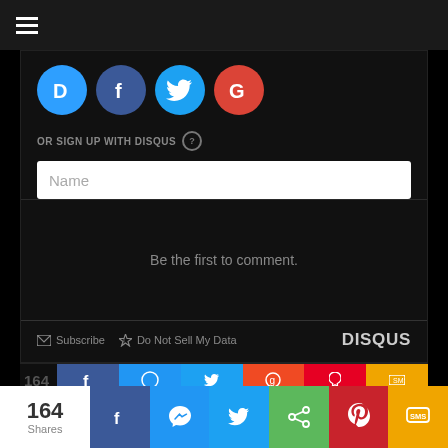[Figure (screenshot): Hamburger menu icon (three white horizontal lines) on dark top bar]
[Figure (screenshot): Disqus comment widget with social login icons (Disqus, Facebook, Twitter, Google), OR SIGN UP WITH DISQUS label, Name input field, empty comment area with 'Be the first to comment.' text, Subscribe and Do Not Sell My Data footer links, DISQUS branding]
[Figure (screenshot): Share bar showing 164 Shares with Facebook, Messenger, Twitter, Share, Pinterest, and SMS buttons]